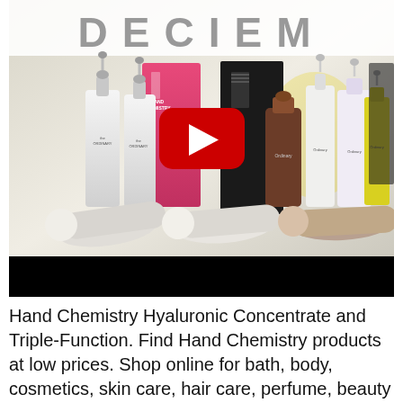[Figure (screenshot): YouTube video thumbnail showing DECIEM brand products including The Ordinary serums, Hand Chemistry Hyaluronic Concentrate bottles, dropper bottles, and pink/black packaging arranged on a white surface. A large red YouTube play button is centered on the image. The word DECIEM appears in large grey letters at the top. A black progress bar is shown at the bottom of the video player.]
Hand Chemistry Hyaluronic Concentrate and Triple-Function. Find Hand Chemistry products at low prices. Shop online for bath, body, cosmetics, skin care, hair care, perfume, beauty tools,